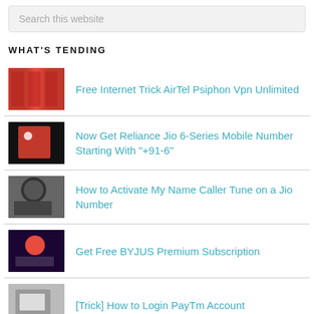Search this website
WHAT'S TENDING
Free Internet Trick AirTel Psiphon Vpn Unlimited
Now Get Reliance Jio 6-Series Mobile Number Starting With "+91-6"
How to Activate My Name Caller Tune on a Jio Number
Get Free BYJUS Premium Subscription
[Trick] How to Login PayTm Account